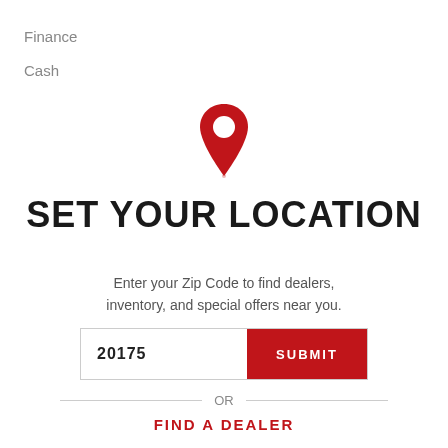Finance
Cash
[Figure (illustration): Red map pin / location marker icon]
SET YOUR LOCATION
Enter your Zip Code to find dealers, inventory, and special offers near you.
20175  SUBMIT
OR
FIND A DEALER